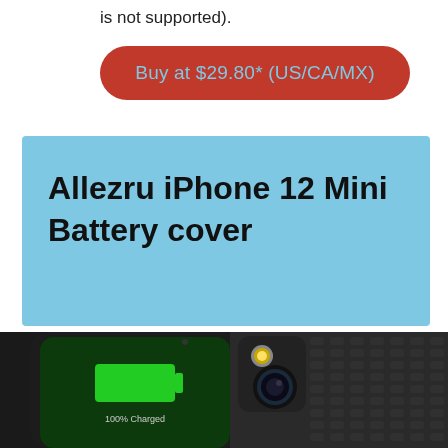is not supported).
Buy at $29.80* (US/CA/MX)
Allezru iPhone 12 Mini Battery cover
[Figure (photo): Product photo of Allezru iPhone 12 Mini Battery Cover case, showing a black battery case on an iPhone displaying 100% Charged on screen, alongside a view of the case back with textured grip pattern and camera cutout.]